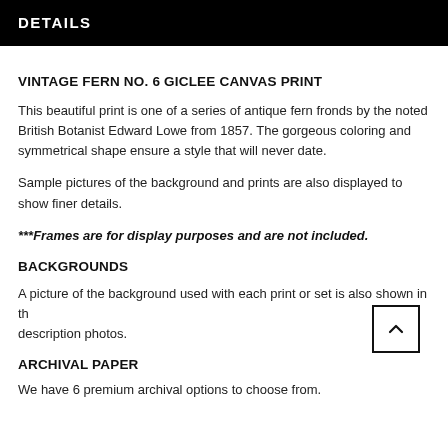DETAILS
VINTAGE FERN NO. 6 GICLEE CANVAS PRINT
This beautiful print is one of a series of antique fern fronds by the noted British Botanist Edward Lowe from 1857. The gorgeous coloring and symmetrical shape ensure a style that will never date.
Sample pictures of the background and prints are also displayed to show finer details.
***Frames are for display purposes and are not included.
BACKGROUNDS
A picture of the background used with each print or set is also shown in the description photos.
ARCHIVAL PAPER
We have 6 premium archival options to choose from.